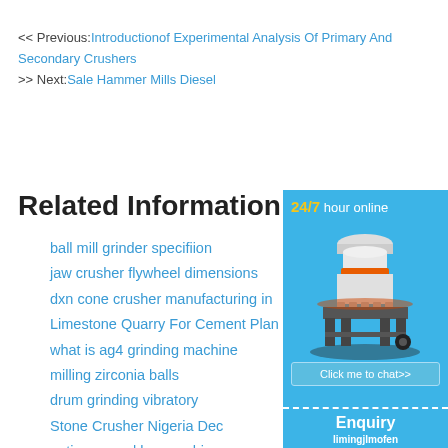<< Previous:Introductionof Experimental Analysis Of Primary And Secondary Crushers
>> Next:Sale Hammer Mills Diesel
Related Information:
ball mill grinder specifiion
jaw crusher flywheel dimensions
dxn cone crusher manufacturing in
Limestone Quarry For Cement Plan
what is ag4 grinding machine
milling zirconia balls
drum grinding vibratory
Stone Crusher Nigeria Dec
optimum coal learnerships
buy grinding machine in colombo
mine with high pressure roller mill
[Figure (illustration): Industrial cone crusher machine illustration in white and orange colors, displayed in a blue sidebar widget with '24/7 hour online' header, 'Click me to chat>>' button, 'Enquiry' section, and 'limingjlmofen' branding]